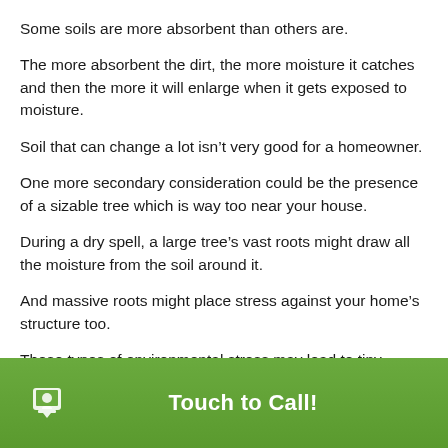Some soils are more absorbent than others are.
The more absorbent the dirt, the more moisture it catches and then the more it will enlarge when it gets exposed to moisture.
Soil that can change a lot isn’t very good for a homeowner.
One more secondary consideration could be the presence of a sizable tree which is way too near your house.
During a dry spell, a large tree’s vast roots might draw all the moisture from the soil around it.
And massive roots might place stress against your home’s structure too.
These types of environmental stress may lead to tiny
Touch to Call!